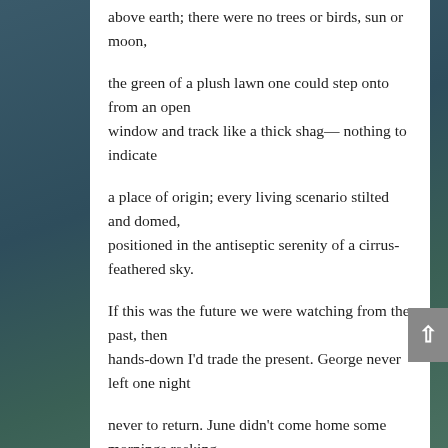above earth; there were no trees or birds, sun or moon,
the green of a plush lawn one could step onto from an open
window and track like a thick shag— nothing to indicate
a place of origin; every living scenario stilted and domed,
positioned in the antiseptic serenity of a cirrus-feathered sky.
If this was the future we were watching from the past, then
hands-down I'd trade the present. George never left one night
never to return. June didn't come home some mornings reeking
of smoke and stale booze; beneath her tufted bed-